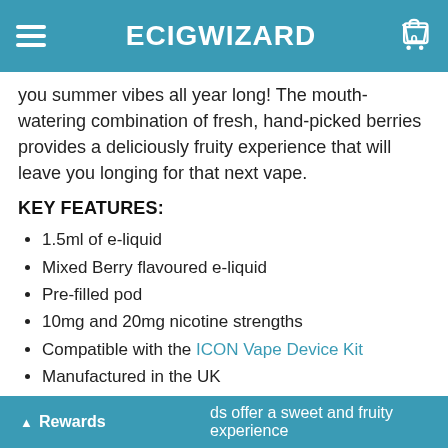ECIGWIZARD
you summer vibes all year long! The mouth-watering combination of fresh, hand-picked berries provides a deliciously fruity experience that will leave you longing for that next vape.
KEY FEATURES:
1.5ml of e-liquid
Mixed Berry flavoured e-liquid
Pre-filled pod
10mg and 20mg nicotine strengths
Compatible with the ICON Vape Device Kit
Manufactured in the UK
MORE ABOUT THE MIXED BERRY ELIQUID PODS
ds offer a sweet and fruity experience